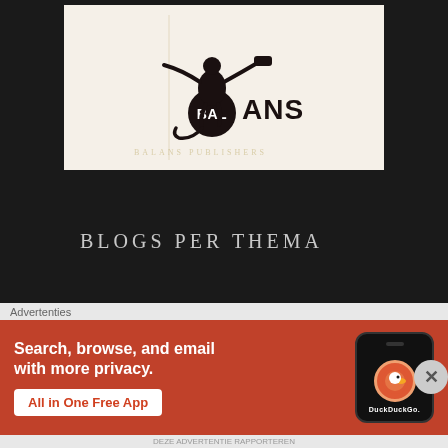[Figure (logo): Balans publisher logo — black silhouette of a figure balancing on a ball, with 'BALANS' text where BAL is in a black circle]
BLOGS PER THEMA
Awakening (85)
[Figure (infographic): DuckDuckGo advertisement banner: orange/red background with text 'Search, browse, and email with more privacy. All in One Free App' and image of smartphone showing DuckDuckGo app]
Advertenties